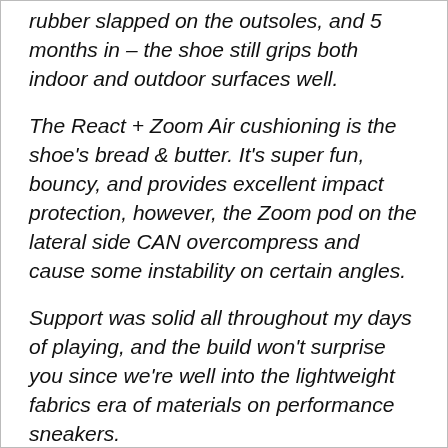rubber slapped on the outsoles, and 5 months in – the shoe still grips both indoor and outdoor surfaces well.
The React + Zoom Air cushioning is the shoe's bread & butter. It's super fun, bouncy, and provides excellent impact protection, however, the Zoom pod on the lateral side CAN overcompress and cause some instability on certain angles.
Support was solid all throughout my days of playing, and the build won't surprise you since we're well into the lightweight fabrics era of materials on performance sneakers.
This one's no different and also no less